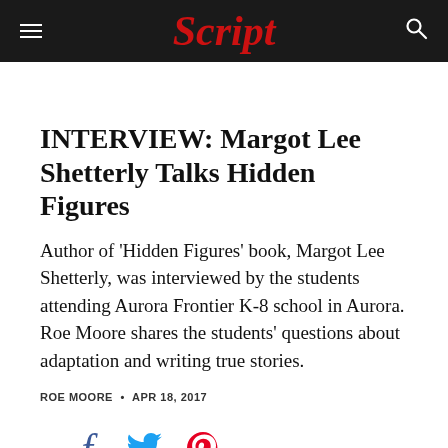Script
INTERVIEW: Margot Lee Shetterly Talks Hidden Figures
Author of 'Hidden Figures' book, Margot Lee Shetterly, was interviewed by the students attending Aurora Frontier K-8 school in Aurora. Roe Moore shares the students' questions about adaptation and writing true stories.
ROE MOORE • APR 18, 2017
[Figure (other): Social sharing icons: Facebook (blue), Twitter (cyan/blue), Pinterest (red)]